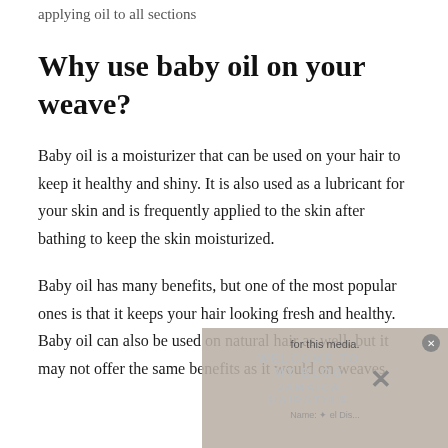applying oil to all sections
Why use baby oil on your weave?
Baby oil is a moisturizer that can be used on your hair to keep it healthy and shiny. It is also used as a lubricant for your skin and is frequently applied to the skin after bathing to keep the skin moisturized.
Baby oil has many benefits, but one of the most popular ones is that it keeps your hair looking fresh and healthy. Baby oil can also be used on natural hair as well, but it may not offer the same benefits as it would on weaves.
[Figure (other): Advertisement overlay showing 'WELCOME TO MY BLOG JAMAICA HAIRSTYLE' with a close button and media notice]